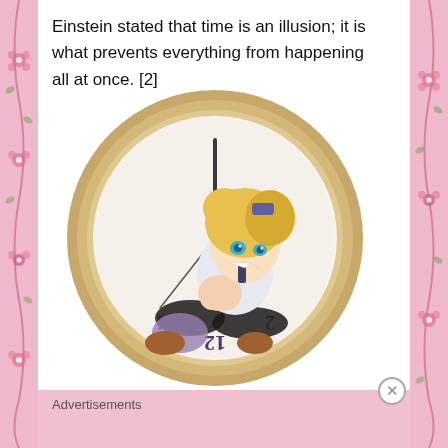Einstein stated that time is an illusion; it is what prevents everything from happening all at once. [2]
[Figure (illustration): Anime-style illustration of a character with blonde hair and blue eyes, dressed in a white outfit with black stockings, sitting inside a large round clock face with clock hands and numbers visible.]
Advertisements